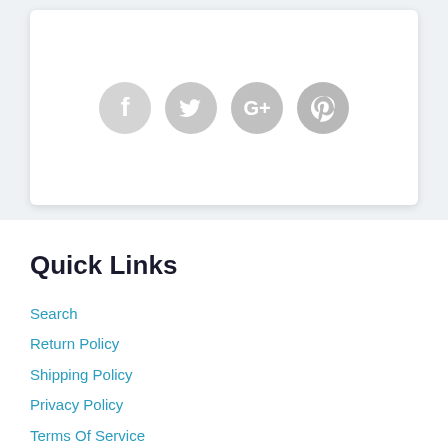[Figure (other): Social media share icons: Facebook, Twitter, Google+, Pinterest — shown as grey circular icons in a white card on a light blue-grey background]
Quick Links
Search
Return Policy
Shipping Policy
Privacy Policy
Terms Of Service
Company Information